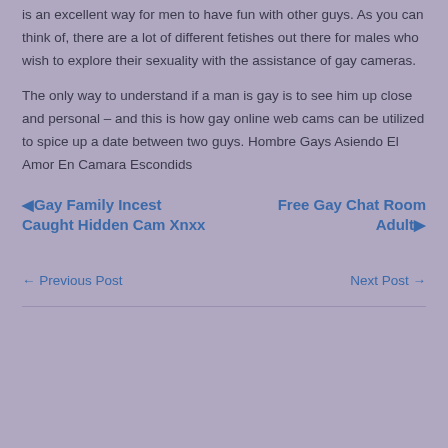is an excellent way for men to have fun with other guys. As you can think of, there are a lot of different fetishes out there for males who wish to explore their sexuality with the assistance of gay cameras.
The only way to understand if a man is gay is to see him up close and personal – and this is how gay online web cams can be utilized to spice up a date between two guys. Hombre Gays Asiendo El Amor En Camara Escondids
◄Gay Family Incest Caught Hidden Cam Xnxx
Free Gay Chat Room Adult►
← Previous Post
Next Post →